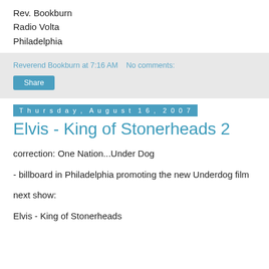Rev. Bookburn
Radio Volta
Philadelphia
Reverend Bookburn at 7:16 AM   No comments:
Share
Thursday, August 16, 2007
Elvis - King of Stonerheads 2
correction: One Nation...Under Dog
- billboard in Philadelphia promoting the new Underdog film
next show:
Elvis - King of Stonerheads